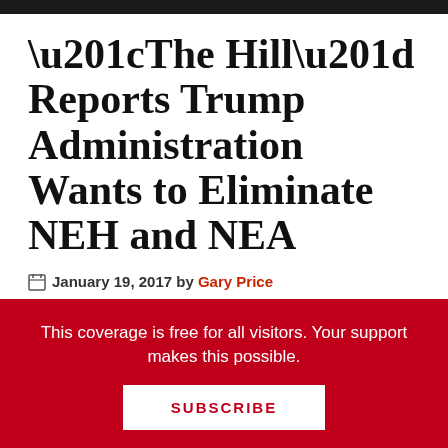“The Hill” Reports Trump Administration Wants to Eliminate NEH and NEA
January 19, 2017 by Gary Price
From The Hill:
Staffers for the Trump transition team have been meeting with career staff at the White
This coverage is free for all visitors. Your support makes this possible.
SUBSCRIBE